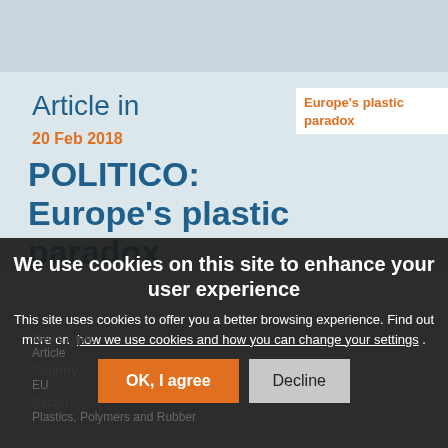Article in
Europe's plastic paradox
20 Feb 2018
POLITICO: Europe's plastic paradox
We use cookies on this site to enhance your user experience
This site uses cookies to offer you a better browsing experience. Find out more on how we use cookies and how you can change your settings .
OK, I agree
Decline
News type:
Article
Country:
EU
Sector:
Plastics, Polymers and Rubber